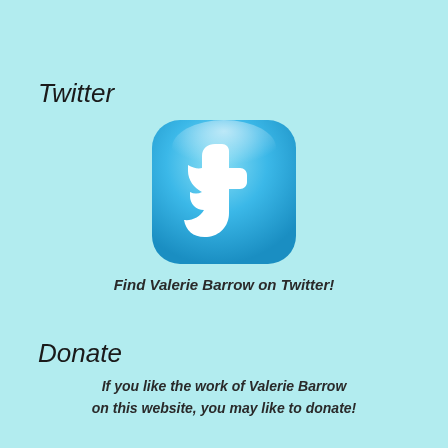Twitter
[Figure (logo): Twitter bird logo icon — rounded square with blue gradient background and white stylized lowercase 't' bird icon]
Find Valerie Barrow on Twitter!
Donate
If you like the work of Valerie Barrow on this website, you may like to donate!